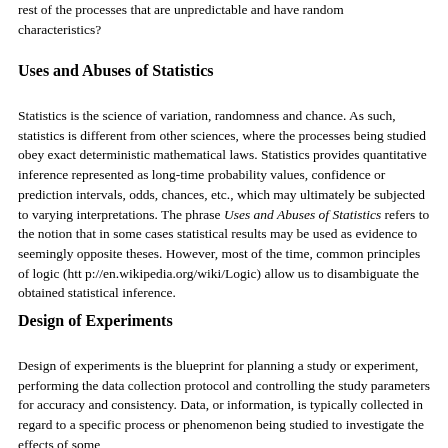rest of the processes that are unpredictable and have random characteristics?
Uses and Abuses of Statistics
Statistics is the science of variation, randomness and chance. As such, statistics is different from other sciences, where the processes being studied obey exact deterministic mathematical laws. Statistics provides quantitative inference represented as long-time probability values, confidence or prediction intervals, odds, chances, etc., which may ultimately be subjected to varying interpretations. The phrase Uses and Abuses of Statistics refers to the notion that in some cases statistical results may be used as evidence to seemingly opposite theses. However, most of the time, common principles of logic (http://en.wikipedia.org/wiki/Logic) allow us to disambiguate the obtained statistical inference.
Design of Experiments
Design of experiments is the blueprint for planning a study or experiment, performing the data collection protocol and controlling the study parameters for accuracy and consistency. Data, or information, is typically collected in regard to a specific process or phenomenon being studied to investigate the effects of some